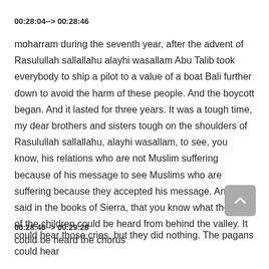00:28:04--> 00:28:46
moharram during the seventh year, after the advent of Rasulullah sallallahu alayhi wasallam Abu Talib took everybody to ship a pilot to a value of a boat Bali further down to avoid the harm of these people. And the boycott began. And it lasted for three years. It was a tough time, my dear brothers and sisters tough on the shoulders of Rasulullah sallallahu, alayhi wasallam, to see, you know, his relations who are not Muslim suffering because of his message to see Muslims who are suffering because they accepted his message. And it he said in the books of Sierra, that you know what the cries of the children could be heard from behind the valley. It could be heard the chorus
00:28:46--> 00:29:28
could hear those cries, but they did nothing. The pagans could hear